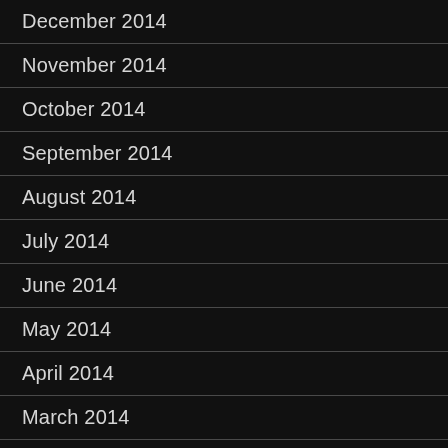December 2014
November 2014
October 2014
September 2014
August 2014
July 2014
June 2014
May 2014
April 2014
March 2014
February 2014